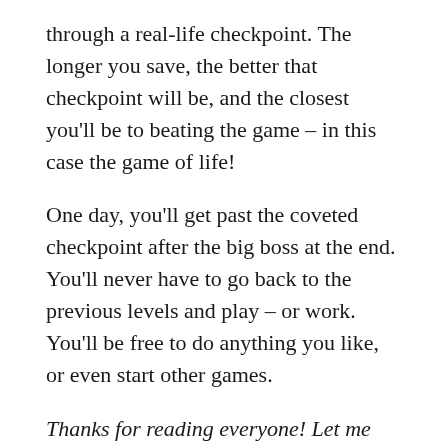through a real-life checkpoint. The longer you save, the better that checkpoint will be, and the closest you'll be to beating the game – in this case the game of life!
One day, you'll get past the coveted checkpoint after the big boss at the end. You'll never have to go back to the previous levels and play – or work. You'll be free to do anything you like, or even start other games.
Thanks for reading everyone! Let me know in the comments below if there are other aspects of life that could benefit from checkpoints!